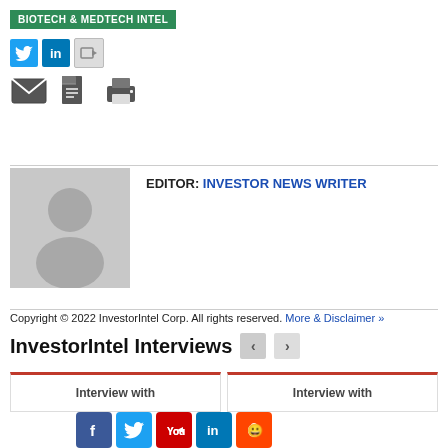BIOTECH & MEDTECH INTEL
[Figure (other): Social share icons: Twitter (blue), LinkedIn (blue), Share (grey)]
[Figure (other): Action icons: email envelope, document/PDF, print]
[Figure (other): Default avatar placeholder image (grey silhouette on grey background)]
EDITOR: INVESTOR NEWS WRITER
Copyright © 2022 InvestorIntel Corp. All rights reserved. More & Disclaimer »
InvestorIntel Interviews
Interview with
Interview with
[Figure (other): Bottom social media icons: Facebook, Twitter, YouTube, LinkedIn, Reddit]